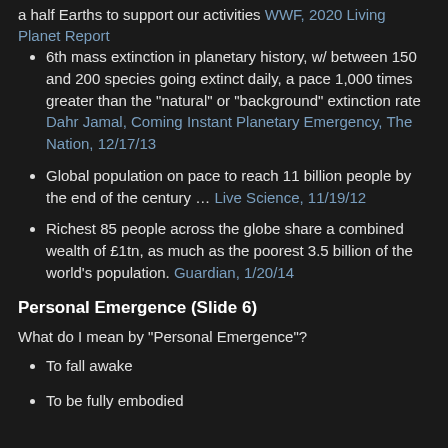a half Earths to support our activities WWF, 2020 Living Planet Report
6th mass extinction in planetary history, w/ between 150 and 200 species going extinct daily, a pace 1,000 times greater than the "natural" or "background" extinction rate Dahr Jamal, Coming Instant Planetary Emergency, The Nation, 12/17/13
Global population on pace to reach 11 billion people by the end of the century … Live Science, 11/19/12
Richest 85 people across the globe share a combined wealth of £1tn, as much as the poorest 3.5 billion of the world's population. Guardian, 1/20/14
Personal Emergence (Slide 6)
What do I mean by "Personal Emergence"?
To fall awake
To be fully embodied